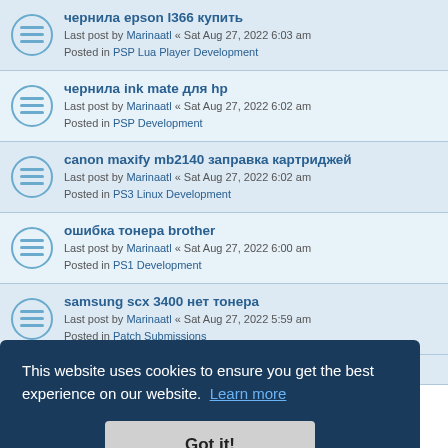чернила epson l366 купить
Last post by Marinaatl « Sat Aug 27, 2022 6:03 am
Posted in PSP Lua Player Development
чернила ink mate для hp
Last post by Marinaatl « Sat Aug 27, 2022 6:02 am
Posted in PSP Development
canon maxify mb2140 заправка картриджей
Last post by Marinaatl « Sat Aug 27, 2022 6:02 am
Posted in PS3 Linux Development
ошибка тонера brother
Last post by Marinaatl « Sat Aug 27, 2022 6:00 am
Posted in PS1 Development
samsung scx 3400 нет тонера
Last post by Marinaatl « Sat Aug 27, 2022 5:59 am
Posted in Patch Submissions
This website uses cookies to ensure you get the best experience on our website. Learn more
Got it!
чипы для картриджей hp cf259x